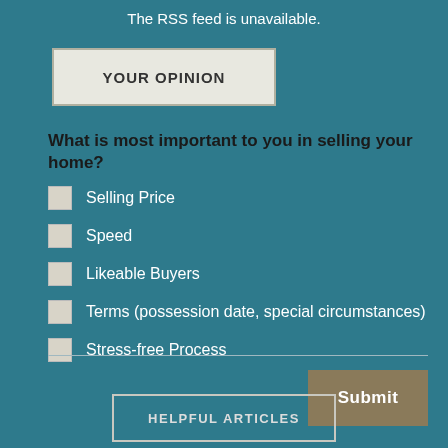The RSS feed is unavailable.
YOUR OPINION
What is most important to you in selling your home?
Selling Price
Speed
Likeable Buyers
Terms (possession date, special circumstances)
Stress-free Process
Submit
HELPFUL ARTICLES